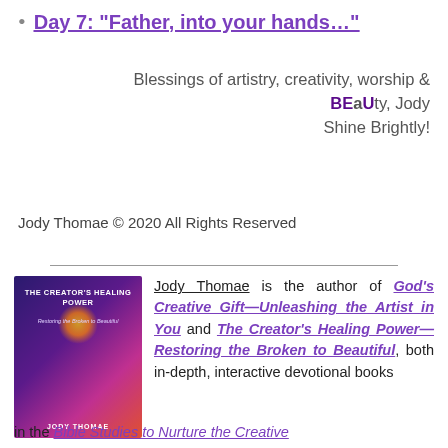Day 7: “Father, into your hands…”
Blessings of artistry, creativity, worship & BEaUty, Jody
Shine Brightly!
Jody Thomae © 2020 All Rights Reserved
[Figure (photo): Book cover for The Creator's Healing Power by Jody Thomae, featuring a swirling cosmic/spiritual image in blues, purples, and pinks.]
Jody Thomae is the author of God’s Creative Gift—Unleashing the Artist in You and The Creator’s Healing Power—Restoring the Broken to Beautiful, both in-depth, interactive devotional books in the Bible Studies to Nurture the Creative